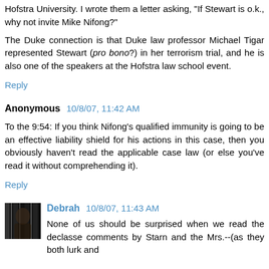Hofstra University. I wrote them a letter asking, "If Stewart is o.k., why not invite Mike Nifong?"
The Duke connection is that Duke law professor Michael Tigar represented Stewart (pro bono?) in her terrorism trial, and he is also one of the speakers at the Hofstra law school event.
Reply
Anonymous 10/8/07, 11:42 AM
To the 9:54: If you think Nifong's qualified immunity is going to be an effective liability shield for his actions in this case, then you obviously haven't read the applicable case law (or else you've read it without comprehending it).
Reply
Debrah 10/8/07, 11:43 AM
None of us should be surprised when we read the declasse comments by Starn and the Mrs.--(as they both lurk and